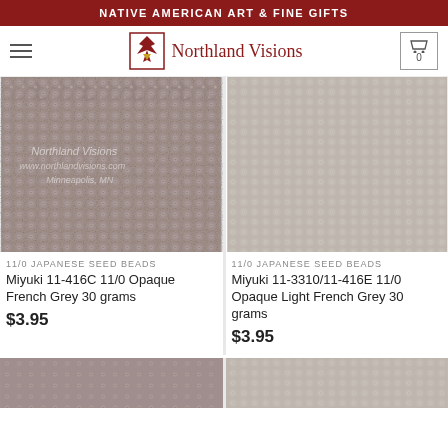NATIVE AMERICAN ART & FINE GIFTS
[Figure (logo): Northland Visions logo with eagle and brand name]
[Figure (photo): Close-up photo of Miyuki 11-416C 11/0 Opaque French Grey seed beads with watermark Northland Visions www.northlandvisions.com Minneapolis MN]
[Figure (photo): Close-up photo of Miyuki 11-3310/11-416E 11/0 Opaque Light French Grey seed beads]
11/0 JAPANESE SEED BEADS
Miyuki 11-416C 11/0 Opaque French Grey 30 grams
$3.95
11/0 JAPANESE SEED BEADS
Miyuki 11-3310/11-416E 11/0 Opaque Light French Grey 30 grams
$3.95
[Figure (photo): Partial bottom thumbnail of seed beads product left]
[Figure (photo): Partial bottom thumbnail of seed beads product right]